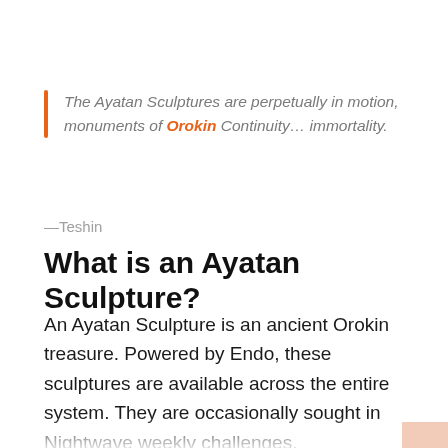The Ayatan Sculptures are perpetually in motion, monuments of Orokin Continuity… immortality.
—Teshin
What is an Ayatan Sculpture?
An Ayatan Sculpture is an ancient Orokin treasure. Powered by Endo, these sculptures are available across the entire system. They are occasionally sought in Nightwave weekly challenges.